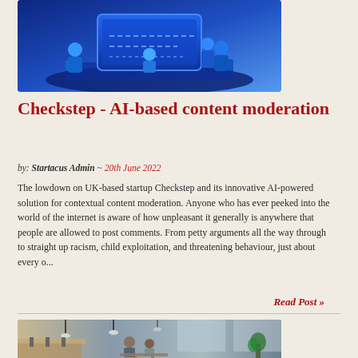[Figure (illustration): 3D illustration of blue cartoon robot/alien figures around a large blue screen or platform, set on a dark blue base, tech/AI themed]
Checkstep - AI-based content moderation
by: Startacus Admin ~ 20th June 2022
The lowdown on UK-based startup Checkstep and its innovative AI-powered solution for contextual content moderation. Anyone who has ever peeked into the world of the internet is aware of how unpleasant it generally is anywhere that people are allowed to post comments. From petty arguments all the way through to straight up racism, child exploitation, and threatening behaviour, just about every o...
Read Post »
[Figure (photo): Photo of a modern office/coworking space interior with people sitting at tables, plants, pendant lights, and large windows]